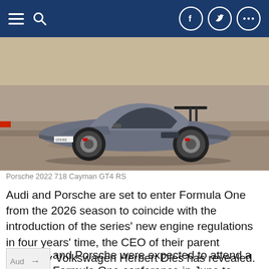Navigation bar with hamburger menu, search icon, Facebook, Twitter, and more social icons
[Figure (photo): Porsche 2022 718 Cayman GT4 RS on a racing track, grey sports car with large rear wing, low angle side view]
Porsche 2022 718 Cayman GT4 RS
Audi and Porsche are set to enter Formula One from the 2026 season to coincide with the introduction of the series' new engine regulations in four years' time, the CEO of their parent company Volkswagen Herbert Dies has revealed.
Audi and Porsche were expected to attend a Formula One conference in June to debate the future of power